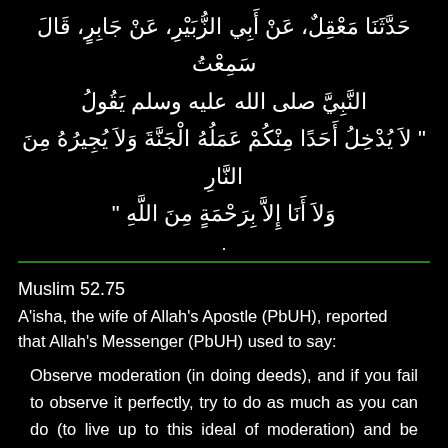حدثنا معقل، عن أبي الزبير، عن جابر، قال سمعت النبيّ صلى الله عليه وسلم يقول " لاَ يُدْخِلُ أَحَدًا مِنْكُمْ عَمَلُهُ الْجَنَّةَ وَلاَ يُجِيرُهُ مِنَ النَّارِ وَلاَ أَنَا إِلاَّ بِرَحْمَةٍ مِنَ اللَّهِ "
.
Muslim 52.75
A'isha, the wife of Allah's Apostle (PbUH), reported that Allah's Messenger (PbUH) used to say:
Observe moderation (in doing deeds), and if you fail to observe it perfectly, try to do as much as you can do (to live up to this ideal of moderation) and be happy for none would be